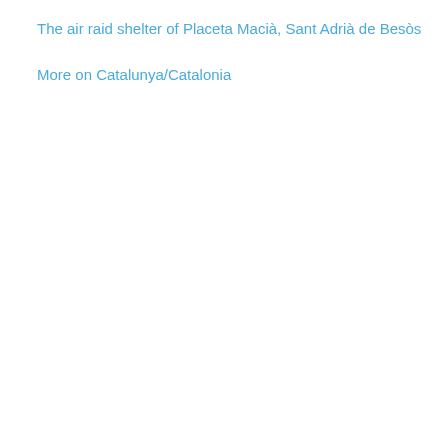The air raid shelter of Placeta Macià, Sant Adrià de Besòs
More on Catalunya/Catalonia